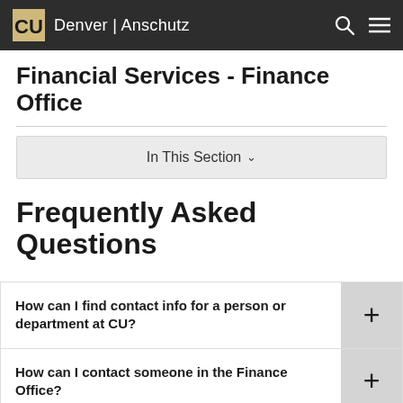CU Denver | Anschutz
Financial Services - Finance Office
In This Section
Frequently Asked Questions
How can I find contact info for a person or department at CU?
How can I contact someone in the Finance Office?